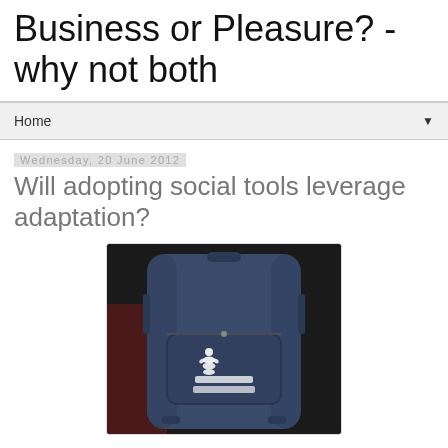Business or Pleasure? - why not both
Home
Wednesday, 20 June 2012
Will adopting social tools leverage adaptation?
[Figure (photo): A dark navy blue backpack with a Michelin logo/branding on the front pocket, photographed against a dark background with reddish ambient lighting on the left side.]